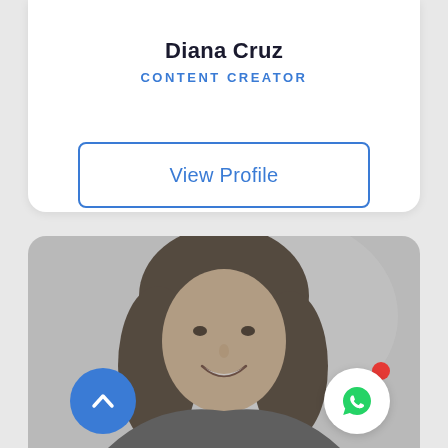Diana Cruz
CONTENT CREATOR
View Profile
[Figure (photo): Black and white photo of a young woman with long hair, smiling, against a light background. Two UI buttons visible: a blue circular scroll-up button bottom-left, and a white circular WhatsApp button bottom-right with a red notification dot.]